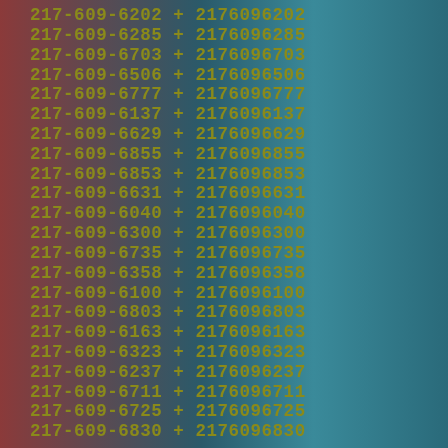217-609-6202 + 2176096202
217-609-6285 + 2176096285
217-609-6703 + 2176096703
217-609-6506 + 2176096506
217-609-6777 + 2176096777
217-609-6137 + 2176096137
217-609-6629 + 2176096629
217-609-6855 + 2176096855
217-609-6853 + 2176096853
217-609-6631 + 2176096631
217-609-6040 + 2176096040
217-609-6300 + 2176096300
217-609-6735 + 2176096735
217-609-6358 + 2176096358
217-609-6100 + 2176096100
217-609-6803 + 2176096803
217-609-6163 + 2176096163
217-609-6323 + 2176096323
217-609-6237 + 2176096237
217-609-6711 + 2176096711
217-609-6725 + 2176096725
217-609-6830 + 2176096830